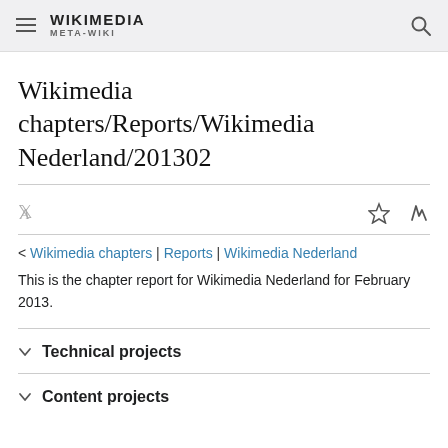WIKIMEDIA META-WIKI
Wikimedia chapters/Reports/Wikimedia Nederland/201302
< Wikimedia chapters | Reports | Wikimedia Nederland
This is the chapter report for Wikimedia Nederland for February 2013.
Technical projects
Content projects